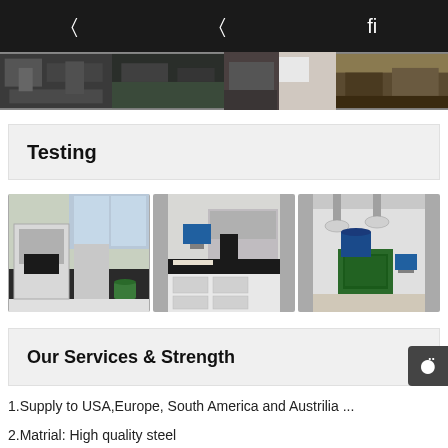Navigation bar with icons
[Figure (photo): Strip of factory interior photos at the top of the page]
Testing
[Figure (photo): Three laboratory testing equipment photos: left shows a testing machine by a window, center shows a computer workstation with lab equipment, right shows a green machine under industrial lighting]
Our Services & Strength
1.Supply to USA,Europe, South America and Austrilia ...
2.Matrial: High quality steel